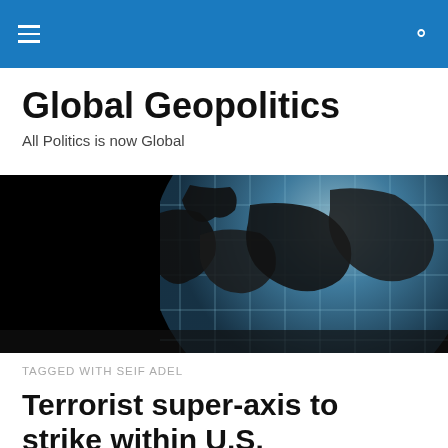Global Geopolitics — navigation bar with hamburger menu and search icon
Global Geopolitics
All Politics is now Global
[Figure (photo): Dark globe with grid lines on black background, showing continents in silhouette with blue ocean tones]
TAGGED WITH SEIF ADEL
Terrorist super-axis to strike within U.S.
Very plausible and not surprising — yet hopefully will